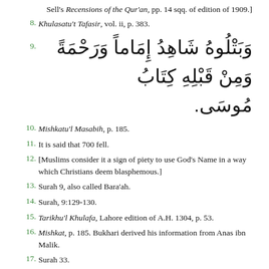Sell's Recensions of the Qur'an, pp. 14 sqq. of edition of 1909.]
8. Khulasatu't Tafasir, vol. ii, p. 383.
9. وَبَتْلُوهُ شَاهِدُ إِمَاماً وَرَحْمَةً وَمِنْ قَبْلِهِ كِتَابُ مُوسَى.
10. Mishkatu'l Masabih, p. 185.
11. It is said that 700 fell.
12. [Muslims consider it a sign of piety to use God's Name in a way which Christians deem blasphemous.]
13. Surah 9, also called Bara'ah.
14. Surah, 9:129-130.
15. Tarikhu'l Khulafa, Lahore edition of A.H. 1304, p. 53.
16. Mishkat, p. 185. Bukhari derived his information from Anas ibn Malik.
17. Surah 33.
18. In later chapters of this Treatise we shall occasionally refer to some of the various readings in the Qur'an.
19. Ibn Khalddn, vol. ii, p. 391.